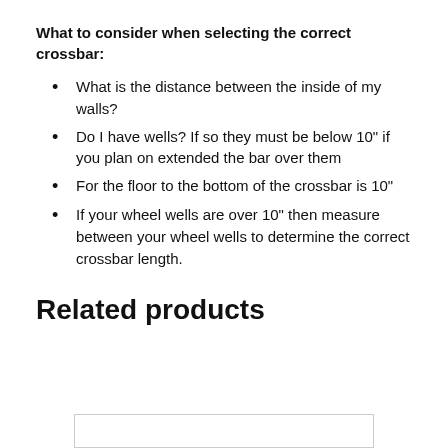What to consider when selecting the correct crossbar:
What is the distance between the inside of my walls?
Do I have wells? If so they must be below 10" if you plan on extended the bar over them
For the floor to the bottom of the crossbar is 10"
If your wheel wells are over 10" then measure between your wheel wells to determine the correct crossbar length.
Related products